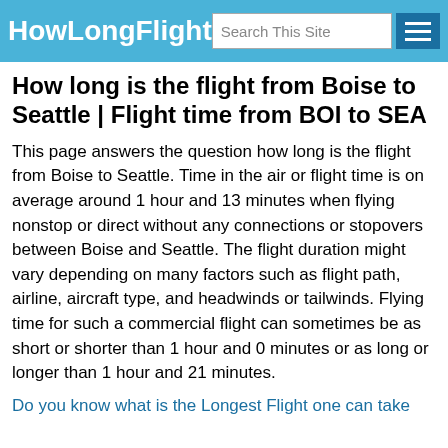HowLongFlight
How long is the flight from Boise to Seattle | Flight time from BOI to SEA
This page answers the question how long is the flight from Boise to Seattle. Time in the air or flight time is on average around 1 hour and 13 minutes when flying nonstop or direct without any connections or stopovers between Boise and Seattle. The flight duration might vary depending on many factors such as flight path, airline, aircraft type, and headwinds or tailwinds. Flying time for such a commercial flight can sometimes be as short or shorter than 1 hour and 0 minutes or as long or longer than 1 hour and 21 minutes.
Do you know what is the Longest Flight one can take